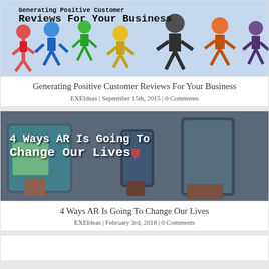[Figure (illustration): Colorful paper cutout figures of business people with text overlay: 'Generating Positive Customer Reviews For Your Business']
Generating Positive Customer Reviews For Your Business
EXEIdeas | September 15th, 2015 | 0 Comments
[Figure (photo): Hands holding tablets and phones showing AR content, with text overlay: '4 Ways AR Is Going To Change Our Lives']
4 Ways AR Is Going To Change Our Lives
EXEIdeas | February 3rd, 2018 | 0 Comments